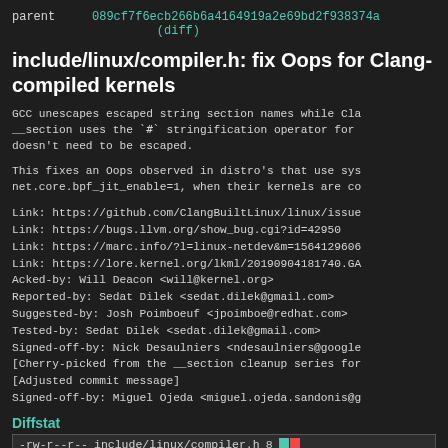parent   089cf7f6ecb266b6a4164919a2e69bd2f938374a
         (diff)
include/linux/compiler.h: fix Oops for Clang-compiled kernels
GCC unescapes escaped string section names while Cla__section uses the `#` stringification operator for doesn't need to be escaped.

This fixes an Oops observed in distro's that use sysnet.core.bpf_jit_enable=1, when their kernels are co
Link: https://github.com/ClangBuiltLinux/linux/issue
Link: https://bugs.llvm.org/show_bug.cgi?id=42950
Link: https://marc.info/?l=linux-netdev&m=1564129606
Link: https://lore.kernel.org/lkml/20190904181740.GA
Acked-by: Will Deacon <will@kernel.org>
Reported-by: Sedat Dilek <sedat.dilek@gmail.com>
Suggested-by: Josh Poimboeuf <jpoimboe@redhat.com>
Tested-by: Sedat Dilek <sedat.dilek@gmail.com>
Signed-off-by: Nick Desaulniers <ndesaulniers@google
[Cherry-picked from the __section cleanup series for
[Adjusted commit message]
Signed-off-by: Miguel Ojeda <miguel.ojeda.sandonis@g
Diffstat
| permissions | file | changes | bar |
| --- | --- | --- | --- |
| -rw-r--r-- | include/linux/compiler.h | 8 |  |